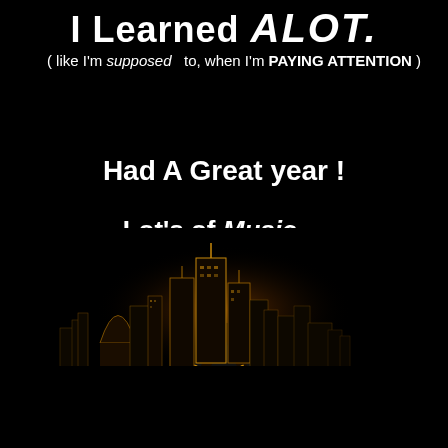I Learned ALOT.
( like I'm supposed to, when I'm PAYING ATTENTION )
Had A Great year !
Lot's of Music....
[Figure (illustration): Night cityscape silhouette with glowing golden/orange skyline and a road with dashed yellow lines converging toward the city in perspective, on a black background.]